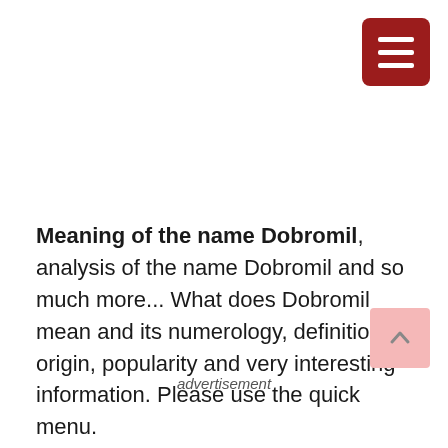[Figure (other): Dark red hamburger menu button with three white horizontal lines, positioned top-right corner]
Meaning of the name Dobromil, analysis of the name Dobromil and so much more... What does Dobromil mean and its numerology, definition, origin, popularity and very interesting information. Please use the quick menu.
advertisement
[Figure (other): Light pink scroll-to-top button with upward chevron arrow, positioned bottom-right corner]